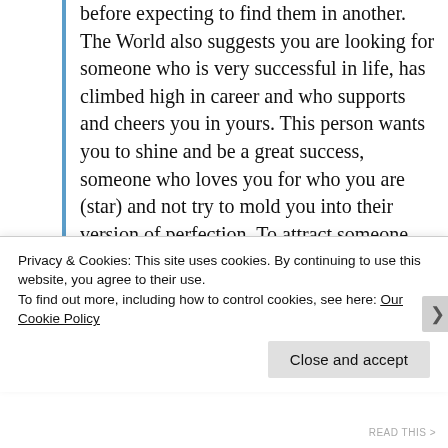before expecting to find them in another. The World also suggests you are looking for someone who is very successful in life, has climbed high in career and who supports and cheers you in yours. This person wants you to shine and be a great success, someone who loves you for who you are (star) and not try to mold you into their version of perfection. To attract someone like that, you most certainly have to feel that way about yourself. At present, you are the most important star in the constellation and all must defer to you where priority is concerned. Follow your own star right
Privacy & Cookies: This site uses cookies. By continuing to use this website, you agree to their use.
To find out more, including how to control cookies, see here: Our Cookie Policy
Close and accept